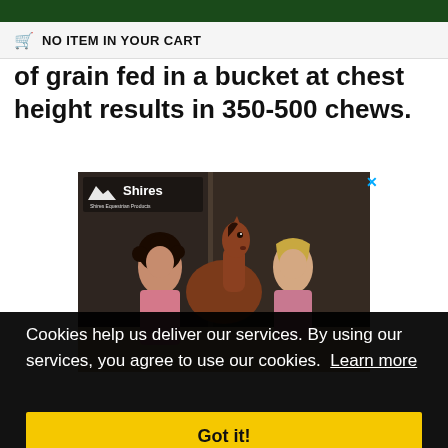NO ITEM IN YOUR CART
of grain fed in a bucket at chest height results in 350-500 chews.
[Figure (photo): Shires Equestrian Products advertisement showing two women and a horse in front of a stable]
Cookies help us deliver our services. By using our services, you agree to use our cookies. Learn more
Got it!
Slow recovery in health